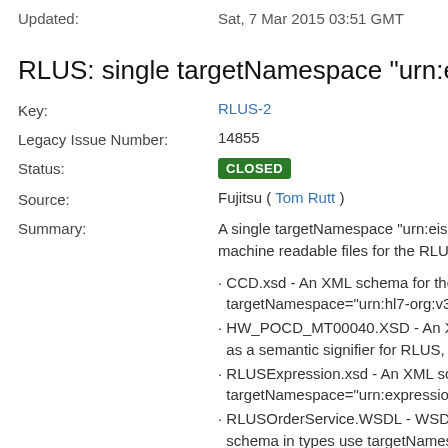Updated: Sat, 7 Mar 2015 03:51 GMT
RLUS: single targetNamespace "urn:eis.hssp.org..."
Key: RLUS-2
Legacy Issue Number: 14855
Status: CLOSED
Source: Fujitsu ( Tom Rutt )
Summary: A single targetNamespace "urn:eis.hssp.org..." machine readable files for the RLUS submis...
· CCD.xsd - An XML schema for the HL7 v.3 targetNamespace="urn:hl7-org:v3"
· HW_POCD_MT00040.XSD - An XML sche... as a semantic signifier for RLUS, uses targe...
· RLUSExpression.xsd - An XML schema for... targetNamespace="urn:expression.hssp.inte...
· RLUSOrderService.WSDL - WSDL for how... schema in types use targetNamespace="urn...